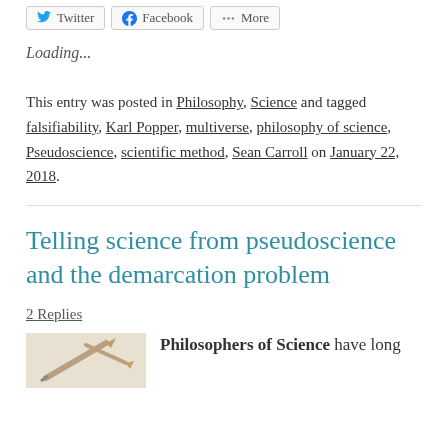[Figure (screenshot): Three share buttons: Twitter, Facebook, More]
Loading...
This entry was posted in Philosophy, Science and tagged falsifiability, Karl Popper, multiverse, philosophy of science, Pseudoscience, scientific method, Sean Carroll on January 22, 2018.
Telling science from pseudoscience and the demarcation problem
2 Replies
Philosophers of Science have long